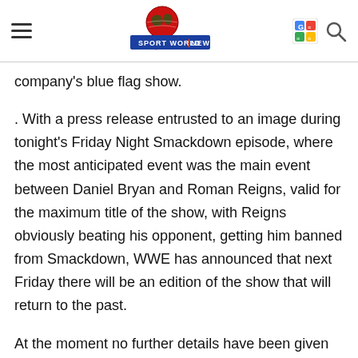Sport World News
company's blue flag show.
. With a press release entrusted to an image during tonight's Friday Night Smackdown episode, where the most anticipated event was the main event between Daniel Bryan and Roman Reigns, valid for the maximum title of the show, with Reigns obviously beating his opponent, getting him banned from Smackdown, WWE has announced that next Friday there will be an edition of the show that will return to the past.
At the moment no further details have been given